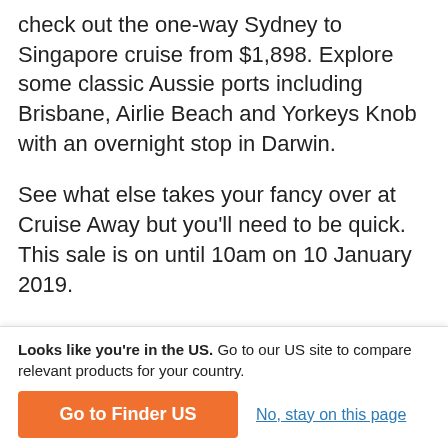check out the one-way Sydney to Singapore cruise from $1,898. Explore some classic Aussie ports including Brisbane, Airlie Beach and Yorkeys Knob with an overnight stop in Darwin.
See what else takes your fancy over at Cruise Away but you'll need to be quick. This sale is on until 10am on 10 January 2019.
Latest travel headlines
Japan reopens to unguided tourists: What does that even mean?
Looks like you're in the US. Go to our US site to compare relevant products for your country.
Go to Finder US
No, stay on this page